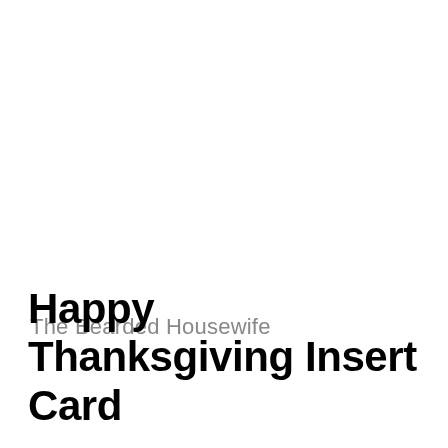The Bearded Housewife
Happy Thanksgiving Insert Card